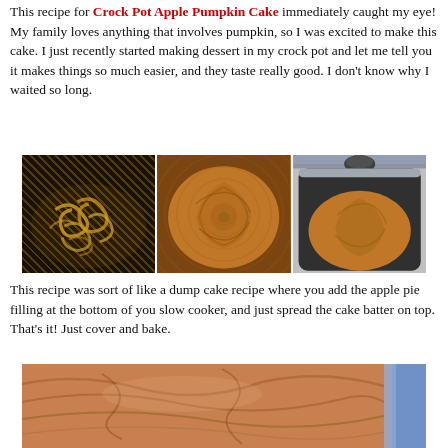This recipe for Crock Pot Apple Pumpkin Cake immediately caught my eye! My family loves anything that involves pumpkin, so I was excited to make this cake. I just recently started making dessert in my crock pot and let me tell you it makes things so much easier, and they taste really good. I don't know why I waited so long.
[Figure (photo): Three-panel photo strip showing: left panel - apple pie filling with noodle-like pieces in a dark slow cooker; center panel - baked pumpkin cake top view with swirl pattern; right panel - baked pumpkin cake in a silver slow cooker with glass lid]
This recipe was sort of like a dump cake recipe where you add the apple pie filling at the bottom of you slow cooker, and just spread the cake batter on top. That's it! Just cover and bake.
[Figure (photo): Close-up photo of the top of the baked crock pot apple pumpkin cake showing golden-brown swirled surface, partially visible with blue slow cooker edge on the right]